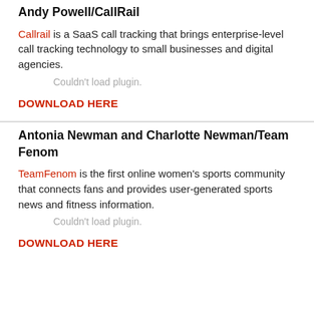Andy Powell/CallRail
Callrail is a SaaS call tracking that brings enterprise-level call tracking technology to small businesses and digital agencies.
Couldn't load plugin.
DOWNLOAD HERE
Antonia Newman and Charlotte Newman/Team Fenom
TeamFenom is the first online women's sports community that connects fans and provides user-generated sports news and fitness information.
Couldn't load plugin.
DOWNLOAD HERE